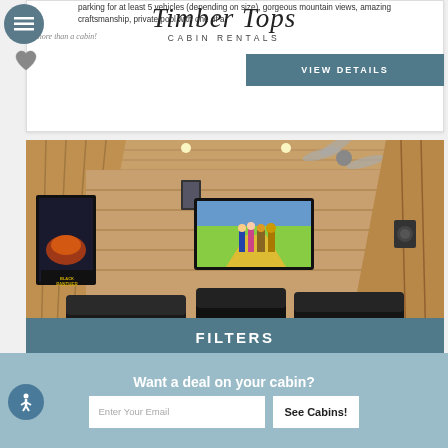Timber Tops CABIN RENTALS
parking for at least 5 vehicles (depending on size), gorgeous mountain views, amazing craftsmanship, private pool with one of a kind cabin!
VIEW DETAILS
[Figure (photo): Interior of a cabin home theater room with wood-paneled walls and ceiling, a large flat-screen TV mounted on the wall showing Wizard of Oz, Black Panther movie poster on the left wall, leather recliner seats in the foreground, ceiling fan, and recessed lighting.]
FILTERS
Want a deal on your cabin?
Enter Your Email
See Cabins!